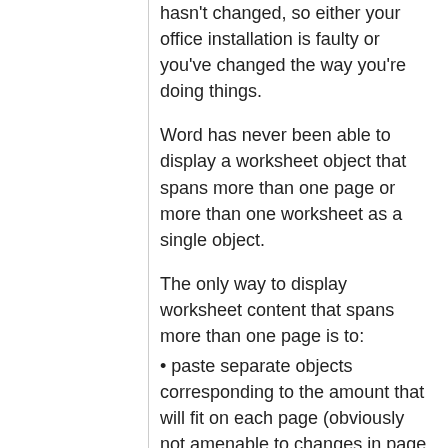hasn't changed, so either your office installation is faulty or you've changed the way you're doing things.
Word has never been able to display a worksheet object that spans more than one page or more than one worksheet as a single object.
The only way to display worksheet content that spans more than one page is to:
• paste separate objects corresponding to the amount that will fit on each page (obviously not amenable to changes in page break positions); or
• paste the data as something other than a worksheet object, which always means format changes might occur, since the